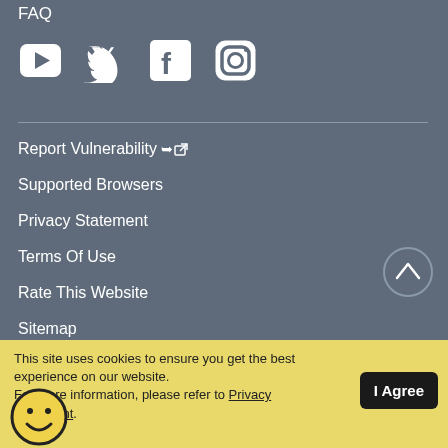FAQ
[Figure (other): Social media icons: YouTube, Twitter, Facebook, Instagram]
Report Vulnerability [external link icon]
Supported Browsers
Privacy Statement
Terms Of Use
Rate This Website
Sitemap
This site uses cookies to ensure you get the best experience on our website. For more information, please refer to Privacy Statement.
[Figure (illustration): Smiley face emoji icon - yellow circle with smile and eyes]